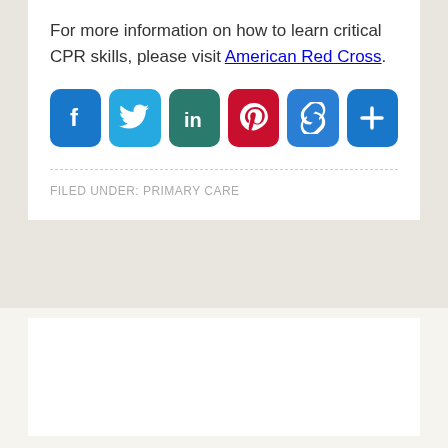For more information on how to learn critical CPR skills, please visit American Red Cross.
[Figure (infographic): Social sharing buttons: Facebook (blue), Twitter (light blue), LinkedIn (teal), Pinterest (red), Link/copy (blue), More/plus (blue)]
FILED UNDER: PRIMARY CARE